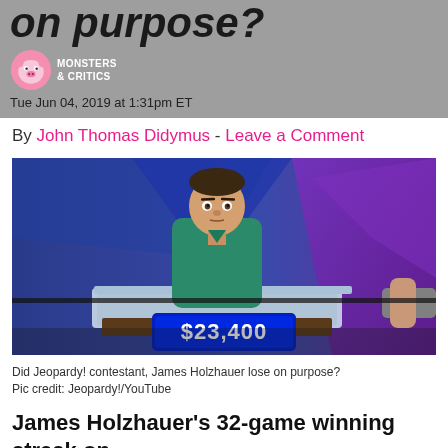on purpose? Monsters & Critics Tue Jun 04, 2019 at 1:31pm ET
By John Thomas Didymus - Leave a Comment
[Figure (photo): James Holzhauer standing at a Jeopardy! contestant podium showing $23,400 on the score display, in front of a blue and purple Jeopardy! set background]
Did Jeopardy! contestant, James Holzhauer lose on purpose?
Pic credit: Jeopardy!/YouTube
James Holzhauer's 32-game winning streak on